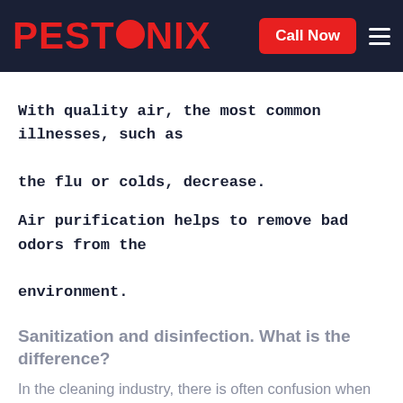PESTONIX — Call Now
With quality air, the most common illnesses, such as the flu or colds, decrease.
Air purification helps to remove bad odors from the environment.
Sanitization and disinfection. What is the difference?
In the cleaning industry, there is often confusion when talking about disinfection and sanitizing. Both terms are frequently discussed, and many people think they have the same meaning. While both are similar, there are small but important